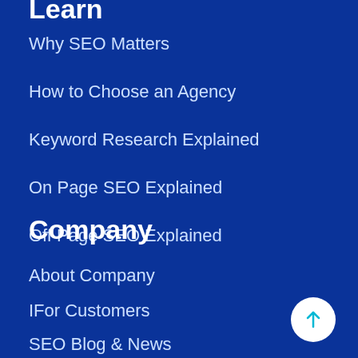Learn
Why SEO Matters
How to Choose an Agency
Keyword Research Explained
On Page SEO Explained
Off Page SEO Explained
Company
About Company
IFor Customers
SEO Blog & News
Careers & Reviews